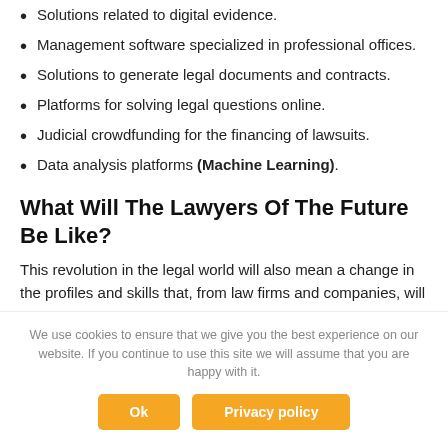Solutions related to digital evidence.
Management software specialized in professional offices.
Solutions to generate legal documents and contracts.
Platforms for solving legal questions online.
Judicial crowdfunding for the financing of lawsuits.
Data analysis platforms (Machine Learning).
What Will The Lawyers Of The Future Be Like?
This revolution in the legal world will also mean a change in the profiles and skills that, from law firms and companies, will
We use cookies to ensure that we give you the best experience on our website. If you continue to use this site we will assume that you are happy with it.